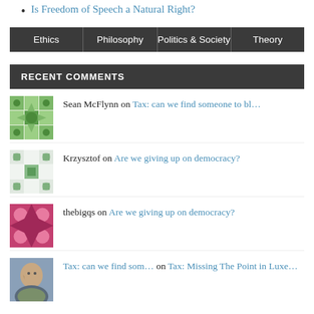Is Freedom of Speech a Natural Right?
| Ethics | Philosophy | Politics & Society | Theory |
| --- | --- | --- | --- |
RECENT COMMENTS
Sean McFlynn on Tax: can we find someone to bl…
Krzysztof on Are we giving up on democracy?
thebigqs on Are we giving up on democracy?
Tax: can we find som… on Tax: Missing The Point in Luxe…